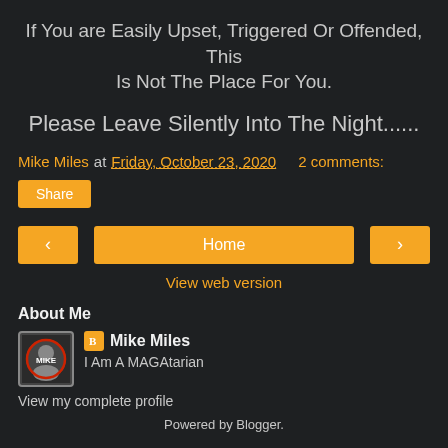If You are Easily Upset, Triggered Or Offended, This Is Not The Place For You.
Please Leave Silently Into The Night......
Mike Miles at Friday, October 23, 2020   2 comments:
Share
< Home >
View web version
About Me
Mike Miles
I Am A MAGAtarian
View my complete profile
Powered by Blogger.